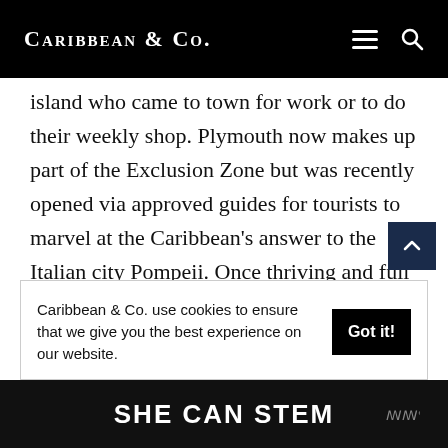Caribbean & Co.
island who came to town for work or to do their weekly shop. Plymouth now makes up part of the Exclusion Zone but was recently opened via approved guides for tourists to marvel at the Caribbean's answer to the Italian city Pompeii. Once thriving and full of life and activity, things are very much at a standstill
Caribbean & Co. use cookies to ensure that we give you the best experience on our website.
SHE CAN STEM